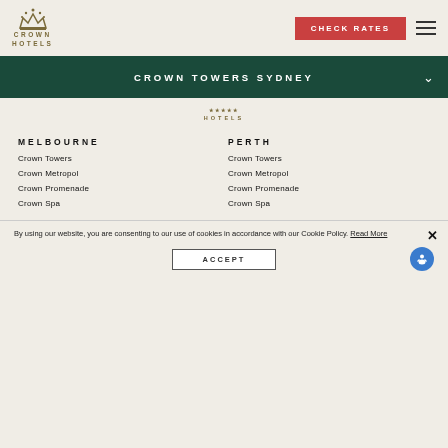[Figure (logo): Crown Hotels logo with crown icon and text]
CHECK RATES
CROWN TOWERS SYDNEY
[Figure (logo): Crown Hotels sub-logo]
MELBOURNE
Crown Towers
Crown Metropol
Crown Promenade
Crown Spa
PERTH
Crown Towers
Crown Metropol
Crown Promenade
Crown Spa
By using our website, you are consenting to our use of cookies in accordance with our Cookie Policy. Read More
ACCEPT